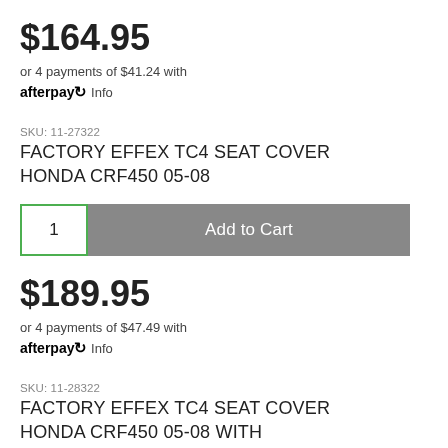$164.95
or 4 payments of $41.24 with afterpay Info
SKU: 11-27322
FACTORY EFFEX TC4 SEAT COVER HONDA CRF450 05-08
1  Add to Cart
$189.95
or 4 payments of $47.49 with afterpay Info
SKU: 11-28322
FACTORY EFFEX TC4 SEAT COVER HONDA CRF450 05-08 with